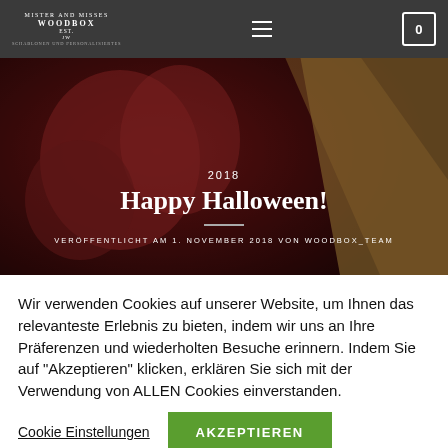MISTER AND MISSES WOODBOX EST. JW — Schablonen und Personalisiertes
[Figure (photo): Dark atmospheric photo of Halloween pumpkins with dark red/maroon coloring overlaid with hero text. Text shows '2018', 'Happy Halloween!', divider line, and 'VERÖFFENTLICHT AM 1. NOVEMBER 2018 VON WOODBOX_TEAM']
2018
Happy Halloween!
VERÖFFENTLICHT AM 1. NOVEMBER 2018 VON WOODBOX_TEAM
Wir verwenden Cookies auf unserer Website, um Ihnen das relevanteste Erlebnis zu bieten, indem wir uns an Ihre Präferenzen und wiederholten Besuche erinnern. Indem Sie auf "Akzeptieren" klicken, erklären Sie sich mit der Verwendung von ALLEN Cookies einverstanden.
Cookie Einstellungen
AKZEPTIEREN